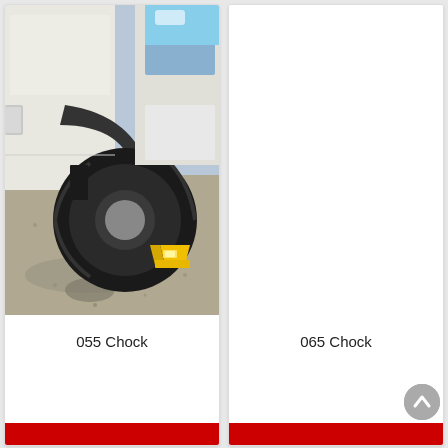[Figure (photo): Photo of a white truck/SUV with a yellow wheel chock placed under the rear tire, parked on a gravel/dirt surface. The vehicle has large off-road tires. Blue sky visible in background.]
055 Chock
[Figure (photo): Empty white card area for 065 Chock product image (no image loaded).]
065 Chock